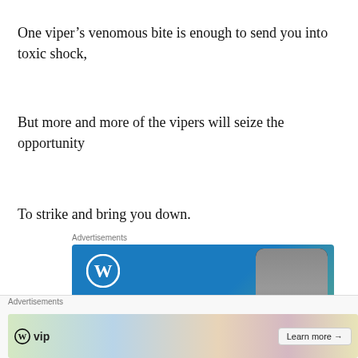One viper’s venomous bite is enough to send you into toxic shock,
But more and more of the vipers will seize the opportunity
To strike and bring you down.
[Figure (screenshot): WordPress advertisement banner with blue gradient background showing WordPress logo, 'Create' text, and a phone mockup showing 'VISITING SKOGAFOSS']
[Figure (screenshot): WordPress VIP advertisement banner with colorful card/map background, WP VIP logo, and 'Learn more' button]